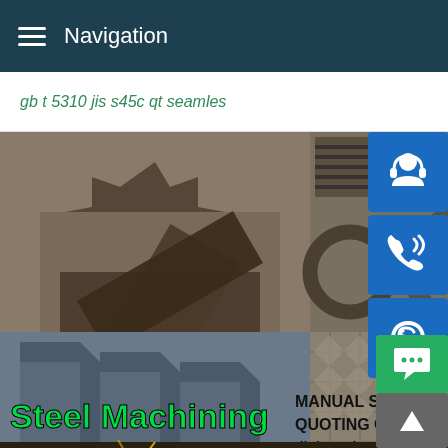Navigation
gb t 5310 jis s45c qt seamless
[Figure (photo): Customer service representative woman with headset, smiling, with contact service icons (headset, phone, Skype) on right side]
[Figure (photo): Steel machining parts collage: gear-shaped steel plates, metal rings, angular steel profiles, patterned steel plates. Text overlay: 'Steel Machining 24H Service'. MANUAL SE... QUOTING O... Email: bsteel1@163.com]
MANUAL SE
QUOTING O
Email: bsteel1@163.com